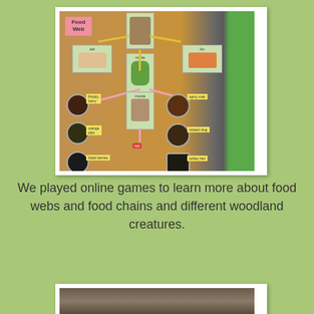[Figure (photo): Classroom door with a food web display. Animal picture cards connected with yellow and pink arrows showing predator-prey relationships. Labels include 'Food Web', 'owl', 'fox', 'snake', 'mouse', 'Prickly berry', 'orange pips', 'black berries', 'chestnuts', and various woodland creature photo cards. A green bulletin board is visible on the right side.]
We played online games to learn more about food webs and food chains and different woodland creatures.
[Figure (photo): Partial view of another classroom photo, cropped at bottom of page, showing what appears to be children or classroom activity.]